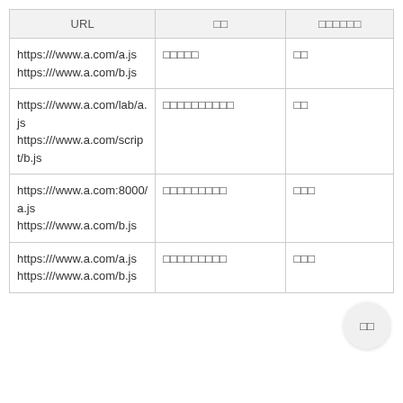| URL | □□ | □□□□□□ |
| --- | --- | --- |
| https:///www.a.com/a.js
https:///www.a.com/b.js | □□□□□ | □□ |
| https:///www.a.com/lab/a.js
https:///www.a.com/script/b.js | □□□□□□□□□□ | □□ |
| https:///www.a.com:8000/a.js
https:///www.a.com/b.js | □□□□□□□□□ | □□□ |
| https:///www.a.com/a.js
https:///www.a.com/b.js | □□□□□□□□□ | □□□ |